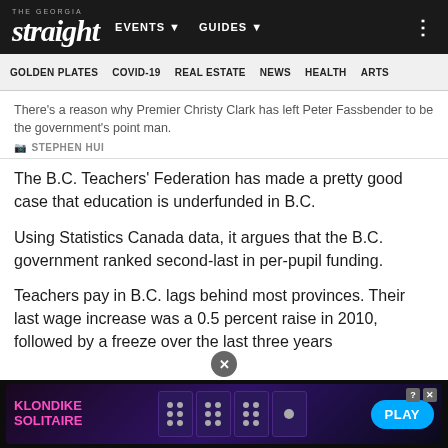The Georgia Straight — EVENTS — GUIDES
GOLDEN PLATES  COVID-19  REAL ESTATE  NEWS  HEALTH  ARTS
There's a reason why Premier Christy Clark has left Peter Fassbender to be the government's point man.
📷 STEPHEN HUI
The B.C. Teachers' Federation has made a pretty good case that education is underfunded in B.C.
Using Statistics Canada data, it argues that the B.C. government ranked second-last in per-pupil funding.
Teachers pay in B.C. lags behind most provinces. Their last wage increase was a 0.5 percent raise in 2010, followed by a freeze over the last three years
[Figure (screenshot): Klondike Solitaire advertisement banner at the bottom of the webpage]